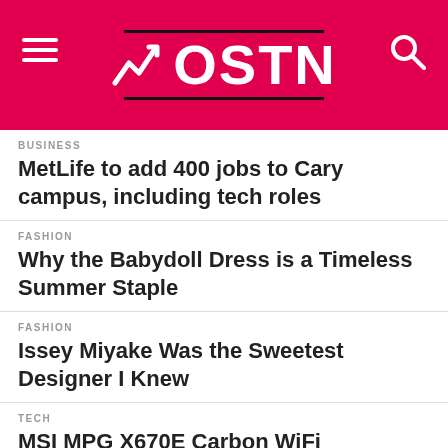[Figure (logo): OSTN news website header with pink/red background, hamburger menu icon on left, search icon on right, OSTN logo with arrow graphic in center]
BUSINESS
MetLife to add 400 jobs to Cary campus, including tech roles
FASHION
Why the Babydoll Dress is a Timeless Summer Staple
FASHION
Issey Miyake Was the Sweetest Designer I Knew
TECH
MSI MPG X670E Carbon WiFi Motherboard Listed Online For Over 550 Euros, PRO X670-P WiFi For Over 350 Euros